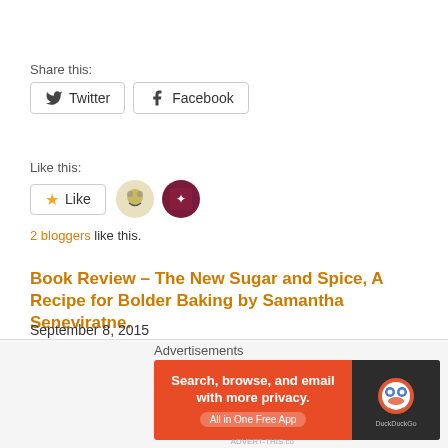Share this:
Twitter  Facebook
Like this:
Like
2 bloggers like this.
Book Review – The New Sugar and Spice, A Recipe for Bolder Baking by Samantha Seneviratne.
September 8, 2015
In "Book Review – Cook Book"
Book Review – Healing Spices by Kirsten Hartvig.
June 11, 2016
Advertisements
[Figure (screenshot): DuckDuckGo advertisement banner: orange background with text 'Search, browse, and email with more privacy. All in One Free App' and DuckDuckGo logo on dark right panel.]